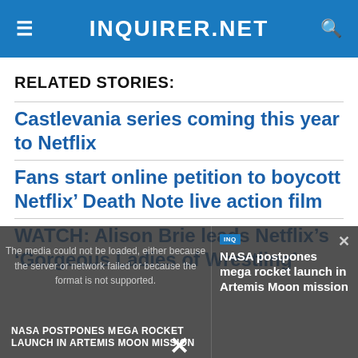INQUIRER.NET
RELATED STORIES:
Castlevania series coming this year to Netflix
Fans start online petition to boycott Netflix’ Death Note live action film
WATCH: Alison Brie leads Netflix’s ‘Gorgeous Ladies of Wrestling’
[Figure (screenshot): Video player overlay showing error message: 'The media could not be loaded, either because the server or network failed or because the format is not supported.' with NASA postpones mega rocket launch in Artemis Moon mission video thumbnail and title.]